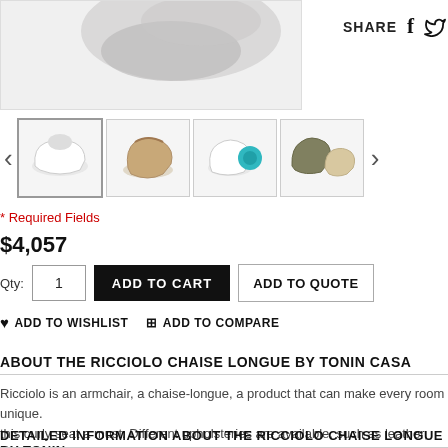[Figure (photo): Partial top view of Ricciolo chaise longue chair, cropped at top]
SHARE
[Figure (photo): Thumbnail: white Ricciolo chaise longue]
[Figure (photo): Thumbnail: brown/wood Ricciolo chaise longue]
[Figure (photo): Thumbnail: white and teal Ricciolo chaise longue]
[Figure (photo): Thumbnail: olive/beige Ricciolo chaise longue set]
* Required Fields
$4,057
Qty: 1  ADD TO CART  ADD TO QUOTE
♥ ADD TO WISHLIST   ⊞ ADD TO COMPARE
ABOUT THE RICCIOLO CHAISE LONGUE BY TONIN CASA
Ricciolo is an armchair, a chaise-longue, a product that can make every room unique. this curly seat a must. Different upholsteries are available, such as leather, eco-leath
DETAILED INFORMATION ABOUT THE RICCIOLO CHAISE LONGUE BY TONIN